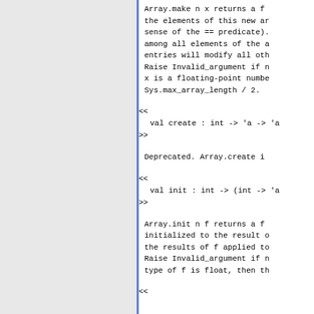Array.make n x returns a f the elements of this new ar sense of the == predicate). among all elements of the a entries will modify all oth Raise Invalid_argument if n x is a floating-point numbe Sys.max_array_length / 2.
<<
  val create : int -> 'a -> 'a
>>
Deprecated. Array.create i
<<
  val init : int -> (int -> 'a
>>
Array.init n f returns a f initialized to the result o the results of f applied to Raise Invalid_argument if n type of f is float, then th
<<